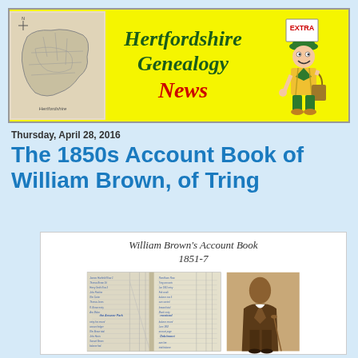[Figure (illustration): Hertfordshire Genealogy News banner with yellow background, map of Hertfordshire on left, green and red decorative text in center, newsboy cartoon character on right]
Thursday, April 28, 2016
The 1850s Account Book of William Brown, of Tring
[Figure (photo): Composite image showing William Brown's Account Book 1851-7 with open ledger pages on the left and a sepia portrait photo of William Brown on the right]